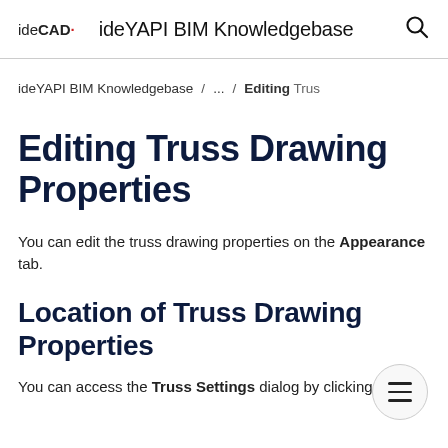ideCAD · ideYAPI BIM Knowledgebase
ideYAPI BIM Knowledgebase / ... / Editing Trus
Editing Truss Drawing Properties
You can edit the truss drawing properties on the Appearance tab.
Location of Truss Drawing Properties
You can access the Truss Settings dialog by clicking